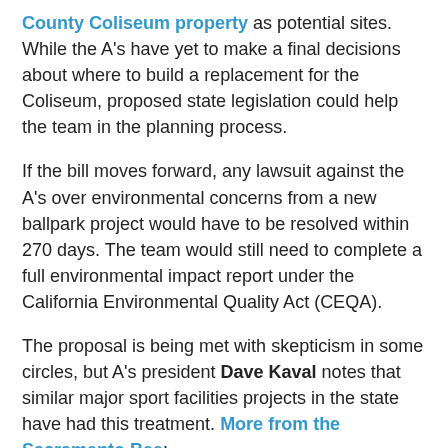County Coliseum property as potential sites. While the A's have yet to make a final decisions about where to build a replacement for the Coliseum, proposed state legislation could help the team in the planning process.
If the bill moves forward, any lawsuit against the A's over environmental concerns from a new ballpark project would have to be resolved within 270 days. The team would still need to complete a full environmental impact report under the California Environmental Quality Act (CEQA).
The proposal is being met with skepticism in some circles, but A's president Dave Kaval notes that similar major sport facilities projects in the state have had this treatment. More from the Sacramento Bee:
Much of the opposition to the bill centers around the expedited judicial review process. Kyle Jones, a policy advocate for Sierra Club California, said rushing the process may cause some environmental issues to get overlooked. He also called the new stadium a “politically-favored project.”